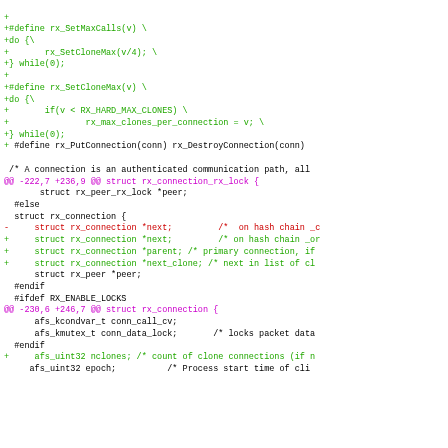[Figure (screenshot): Code diff showing additions and context lines for rx_SetMaxCalls, rx_SetCloneMax macros, rx_PutConnection define, rx_connection struct with rx_connection_rx_lock and related fields, and afs_uint32 nclones/epoch lines.]